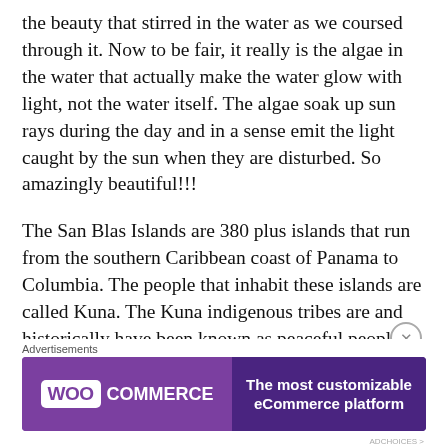the beauty that stirred in the water as we coursed through it. Now to be fair, it really is the algae in the water that actually make the water glow with light, not the water itself.  The algae soak up sun rays during the day and in a sense emit the light caught by the sun when they are disturbed.  So amazingly beautiful!!!
The San Blas Islands are 380 plus islands that run from the southern Caribbean coast of Panama to Columbia.  The people that inhabit these islands are called Kuna.  The Kuna indigenous tribes are and historically have been known as peaceful people.  Being peaceful people, only once did they ever in their history rise up and fight.  And that was a while back now when the Panamanian government tried to claim the islands as part of their government.  Up until that point, all the
Advertisements
[Figure (screenshot): WooCommerce advertisement banner with purple background. Left side shows WooCommerce logo (white box with purple text 'WOO' and white text 'COMMERCE'). Right side shows text 'The most customizable eCommerce platform' in white on dark purple background.]